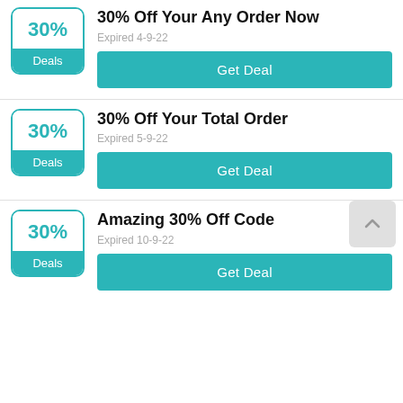[Figure (infographic): Deal card 1: coupon badge showing 30% and Deals label, with title '30% Off Your Any Order Now', expiry 'Expired 4-9-22', and Get Deal button]
[Figure (infographic): Deal card 2: coupon badge showing 30% and Deals label, with title '30% Off Your Total Order', expiry 'Expired 5-9-22', and Get Deal button]
[Figure (infographic): Deal card 3: coupon badge showing 30% and Deals label, with title 'Amazing 30% Off Code', expiry 'Expired 10-9-22', and Get Deal button]